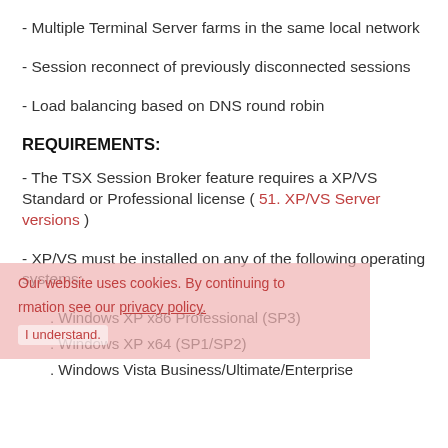- Multiple Terminal Server farms in the same local network
- Session reconnect of previously disconnected sessions
- Load balancing based on DNS round robin
REQUIREMENTS:
- The TSX Session Broker feature requires a XP/VS Standard or Professional license ( 51. XP/VS Server versions )
- XP/VS must be installed on any of the following operating systems:
. Windows XP x86 Professional (SP3)
. Windows XP x64 (SP1/SP2)
. Windows Vista Business/Ultimate/Enterprise